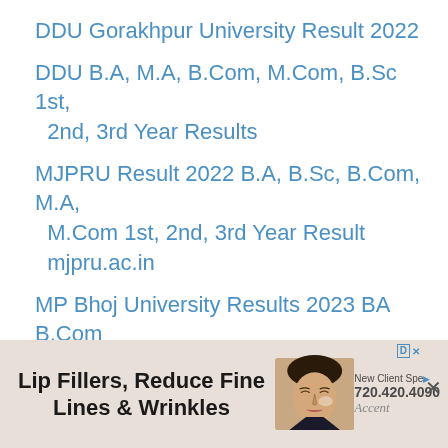DDU Gorakhpur University Result 2022
DDU B.A, M.A, B.Com, M.Com, B.Sc 1st, 2nd, 3rd Year Results
MJPRU Result 2022 B.A, B.Sc, B.Com, M.A, M.Com 1st, 2nd, 3rd Year Result mjpru.ac.in
MP Bhoj University Results 2023 BA B.Com B.Sc 1st 2nd 3rd Year
MGSU Results 2023 BA, B.Sc, B.Com 1st, 2nd, 3rd Year (Part 1 2 3) Result
[Figure (photo): Advertisement banner for a cosmetic clinic featuring a woman's face and text: Lip Fillers, Reduce Fine Lines & Wrinkles. New Client Special. 720.420.4090. Accent (brand). Close button X.]